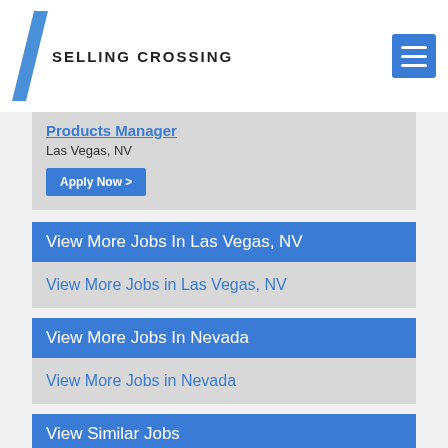SELLING CROSSING
Products Manager
Las Vegas, NV
Apply Now >
View More Jobs In Las Vegas, NV
View More Jobs in Las Vegas, NV
View More Jobs In Nevada
View More Jobs in Nevada
View Similar Jobs
More Business Manager for Top Law Schools - Remote Position jobs